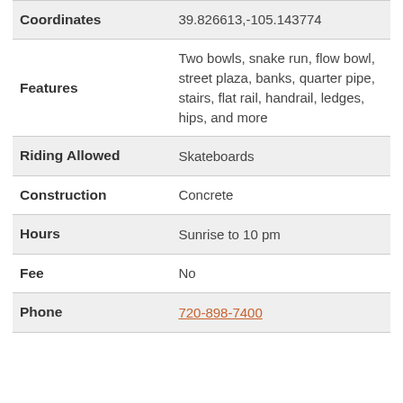| Field | Value |
| --- | --- |
| Coordinates | 39.826613,-105.143774 |
| Features | Two bowls, snake run, flow bowl, street plaza, banks, quarter pipe, stairs, flat rail, handrail, ledges, hips, and more |
| Riding Allowed | Skateboards |
| Construction | Concrete |
| Hours | Sunrise to 10 pm |
| Fee | No |
| Phone | 720-898-7400 |